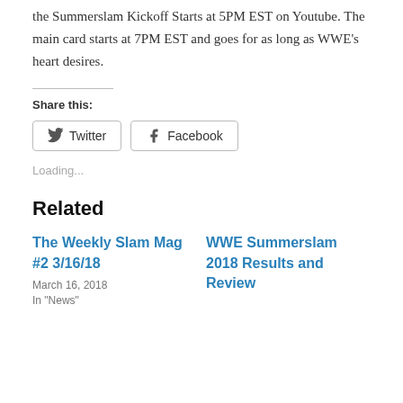the Summerslam Kickoff Starts at 5PM EST on Youtube. The main card starts at 7PM EST and goes for as long as WWE's heart desires.
Share this:
Twitter  Facebook
Loading...
Related
The Weekly Slam Mag #2 3/16/18
March 16, 2018
In "News"
WWE Summerslam 2018 Results and Review